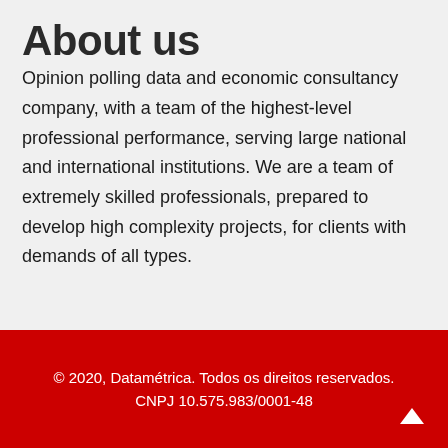About us
Opinion polling data and economic consultancy company, with a team of the highest-level professional performance, serving large national and international institutions. We are a team of extremely skilled professionals, prepared to develop high complexity projects, for clients with demands of all types.
© 2020, Datamétrica. Todos os direitos reservados.
CNPJ 10.575.983/0001-48